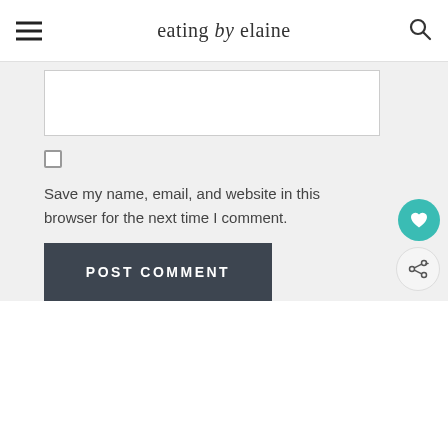eating by elaine
[Figure (screenshot): Textarea input field (empty white box)]
[Figure (other): Checkbox (unchecked)]
Save my name, email, and website in this browser for the next time I comment.
[Figure (other): POST COMMENT button (dark slate background, white uppercase text)]
[Figure (other): Heart FAB button (teal circular button with heart icon)]
[Figure (other): Share FAB button (white circular button with share icon)]